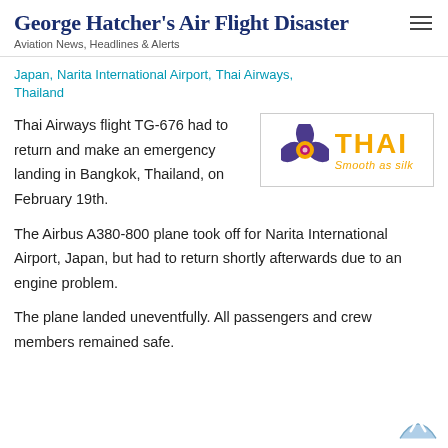George Hatcher's Air Flight Disaster
Aviation News, Headlines & Alerts
Japan, Narita International Airport, Thai Airways, Thailand
Thai Airways flight TG-676 had to return and make an emergency landing in Bangkok, Thailand, on February 19th.
[Figure (logo): Thai Airways logo with orchid symbol and text 'THAI Smooth as silk']
The Airbus A380-800 plane took off for Narita International Airport, Japan, but had to return shortly afterwards due to an engine problem.
The plane landed uneventfully. All passengers and crew members remained safe.